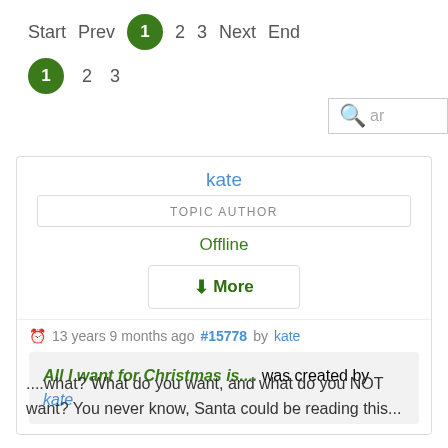Start  Prev  1  2  3  Next  End
1  2  3
kate
TOPIC AUTHOR
Offline
↓More
13 years 9 months ago #15778 by kate
All I want for Christmas is.... was created by kate
....what? What do you want, and what do you NOT want? You never know, Santa could be reading this...